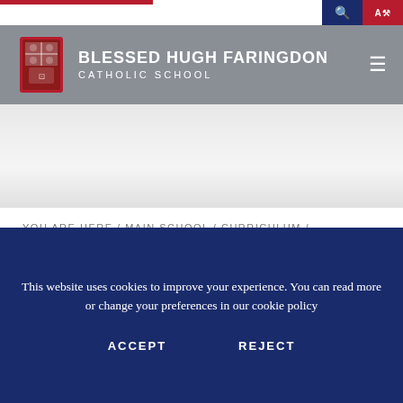BLESSED HUGH FARINGDON CATHOLIC SCHOOL
YOU ARE HERE / MAIN SCHOOL / CURRICULUM / SUBJECTS / GEOGRAPHY
MAIN SCHOOL
GEOGRAPHY
This website uses cookies to improve your experience. You can read more or change your preferences in our cookie policy
ACCEPT   REJECT